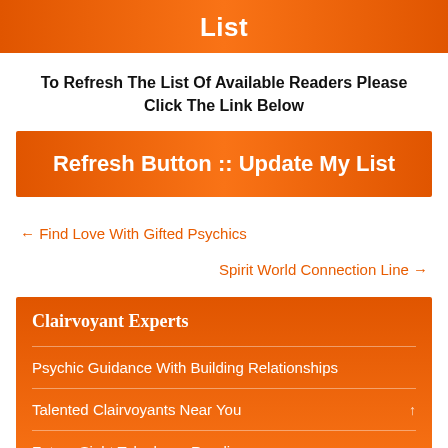List
To Refresh The List Of Available Readers Please Click The Link Below
Refresh Button :: Update My List
← Find Love With Gifted Psychics
Spirit World Connection Line →
Clairvoyant Experts
Psychic Guidance With Building Relationships
Talented Clairvoyants Near You
Future Sight Telephone Readings